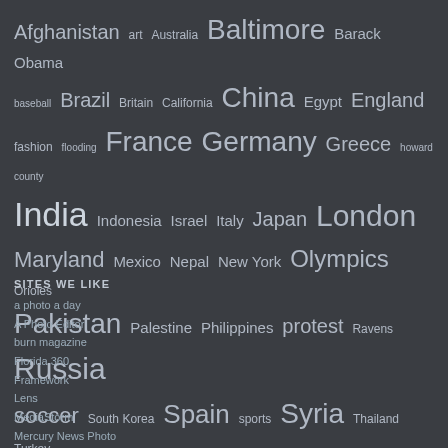[Figure (infographic): Tag cloud showing various topics/locations with font size indicating frequency. Topics include Afghanistan, art, Australia, Baltimore, Barack Obama, baseball, Brazil, Britain, California, China, Egypt, England, fashion, flooding, France, Germany, Greece, howard county, India, Indonesia, Israel, Italy, Japan, London, Maryland, Mexico, Nepal, New York, Olympics, Orioles, Pakistan, Palestine, Philippines, protest, Ravens, Russia, soccer, South Korea, Spain, sports, Syria, Thailand, Turkey, Ukraine, weather]
SITES WE LIKE
a photo a day
A Photo Editor
burn magazine
Florida 360
Framework
Lens
MediaStorm
Mercury News Photo
National Geographic
NPPA
On Assignment